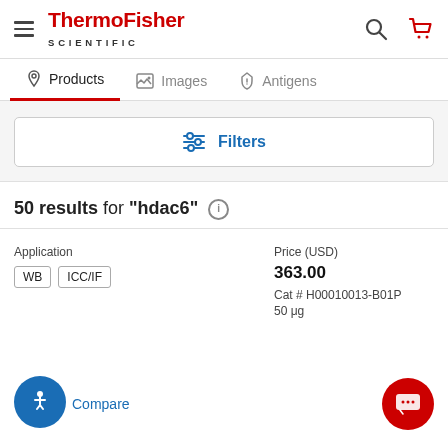ThermoFisher SCIENTIFIC
Products | Images | Antigens
Filters
50 results for "hdac6"
Application: WB ICC/IF | Price (USD): 363.00 | Cat # H00010013-B01P | 50 μg
Compare